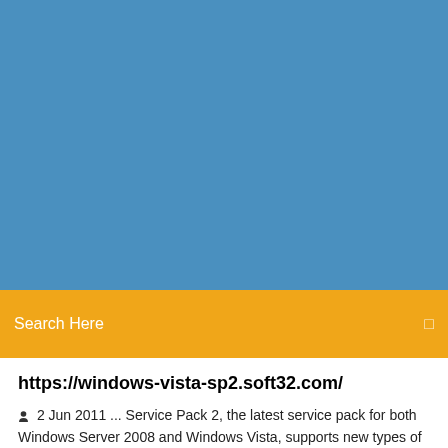[Figure (screenshot): Blue header background area]
Search Here
https://windows-vista-sp2.soft32.com/
2 Jun 2011 ... Service Pack 2, the latest service pack for both Windows Server 2008 and Windows Vista, supports new types of hardware and emerging ...  |
9 Comments
Internet Archive Search: creator:"Microsoft"